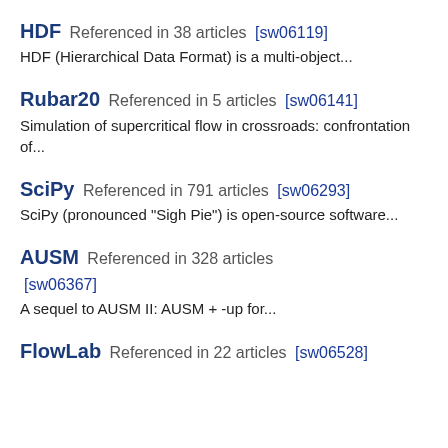HDF Referenced in 38 articles [sw06119]
HDF (Hierarchical Data Format) is a multi-object...
Rubar20 Referenced in 5 articles [sw06141]
Simulation of supercritical flow in crossroads: confrontation of...
SciPy Referenced in 791 articles [sw06293]
SciPy (pronounced "Sigh Pie") is open-source software...
AUSM Referenced in 328 articles [sw06367]
A sequel to AUSM II: AUSM + -up for...
FlowLab Referenced in 22 articles [sw06528]